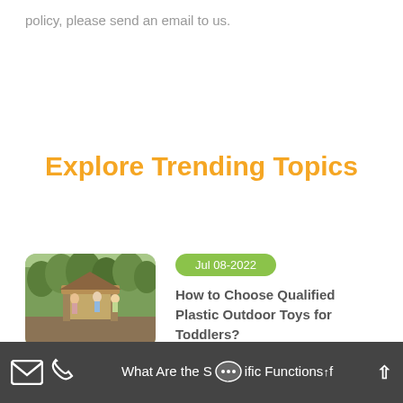policy, please send an email to us.
Explore Trending Topics
[Figure (photo): Children playing on wooden outdoor playground structure among trees]
Jul 08-2022
How to Choose Qualified Plastic Outdoor Toys for Toddlers?
[Figure (photo): Children playing outdoors on grass]
Jul 01-2022
What Are the Specific Functions of
Email | Phone | Chat | Up arrow